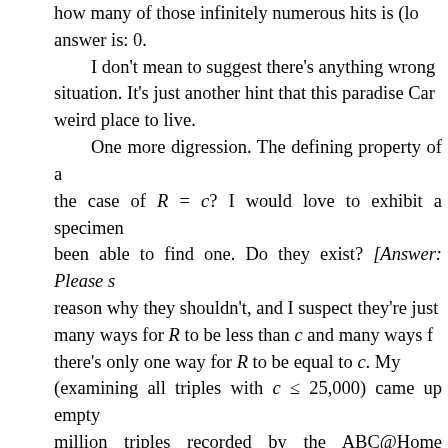how many of those infinitely numerous hits is (lo answer is: 0. I don't mean to suggest there's anything wrong situation. It's just another hint that this paradise Car weird place to live. One more digression. The defining property of a the case of R = c? I would love to exhibit a specimen been able to find one. Do they exist? [Answer: Please s reason why they shouldn't, and I suspect they're just many ways for R to be less than c and many ways t there's only one way for R to be equal to c. My (examining all triples with c ≤ 25,000) came up empty million triples recorded by the ABC@Home project, c = 1018. In this data set I found no triples with R whether that's because no R = c triples exist in ABC@Home software was set to look only for R < c.